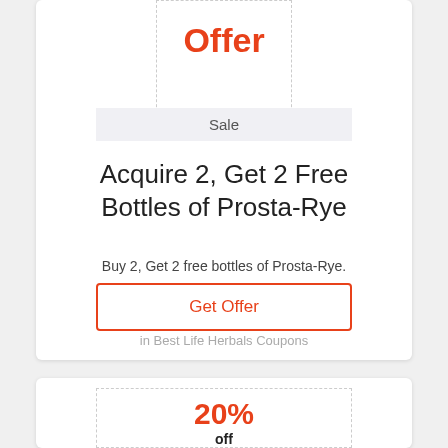Offer
Sale
Acquire 2, Get 2 Free Bottles of Prosta-Rye
Buy 2, Get 2 free bottles of Prosta-Rye.
Get Offer
in Best Life Herbals Coupons
20%
off